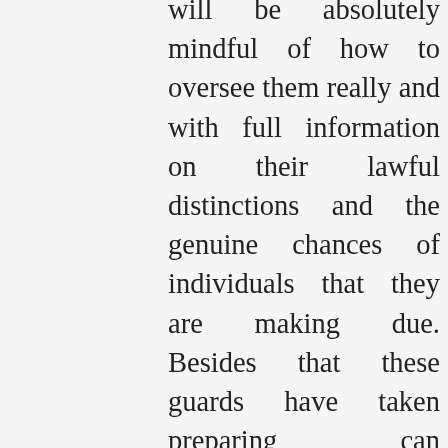will be absolutely mindful of how to oversee them really and with full information on their lawful distinctions and the genuine chances of individuals that they are making due. Besides that these guards have taken preparing can recommend that they are positively less inclined to wind up at the not precisely supportive consummation of cases as they will have finished all the compulsory preparation and course that should satisfy such a basic work. These are two propensities by which preparing can lessen responsibility by righteousness of in episode. Then, the complete availability that guards go through is key to ensure that they can manage the degree of various conditions